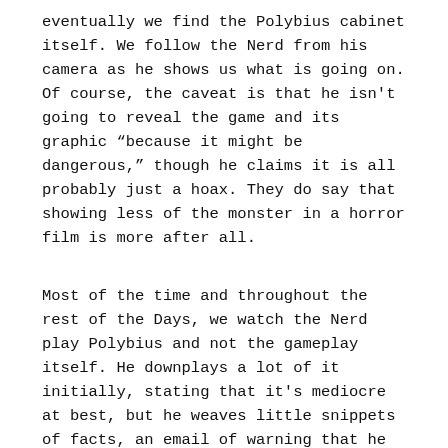eventually we find the Polybius cabinet itself. We follow the Nerd from his camera as he shows us what is going on. Of course, the caveat is that he isn't going to reveal the game and its graphic “because it might be dangerous,” though he claims it is all probably just a hoax. They do say that showing less of the monster in a horror film is more after all.
Most of the time and throughout the rest of the Days, we watch the Nerd play Polybius and not the gameplay itself. He downplays a lot of it initially, stating that it's mediocre at best, but he weaves little snippets of facts, an email of warning that he laughs off, and the realization that the Nerd is spending more and more time playing the game. His estimation of the game